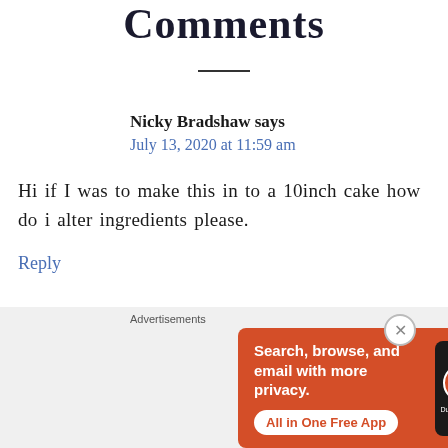Comments
Nicky Bradshaw says
July 13, 2020 at 11:59 am
Hi if I was to make this in to a 10inch cake how do i alter ingredients please.
Reply
[Figure (screenshot): DuckDuckGo advertisement banner: orange background with text 'Search, browse, and email with more privacy. All in One Free App' and a phone graphic showing DuckDuckGo logo]